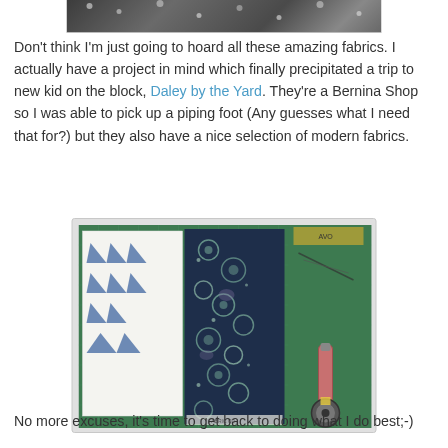[Figure (photo): Top portion of a photo showing dark fabric with white dot/spot pattern, cropped at the bottom edge of the frame]
Don't think I'm just going to hoard all these amazing fabrics.  I actually have a project in mind which finally precipitated a trip to new kid on the block, Daley by the Yard.  They're a Bernina Shop so I was able to pick up a piping foot (Any guesses what I need that for?) but they also have a nice selection of modern fabrics.
[Figure (photo): Photo of a cutting mat (green) with paper templates showing triangle shapes on the left, a dark navy floral fabric panel in the center, and a rotary cutter tool on the right side of the mat]
No more excuses, it's time to get back to doing what I do best;-)